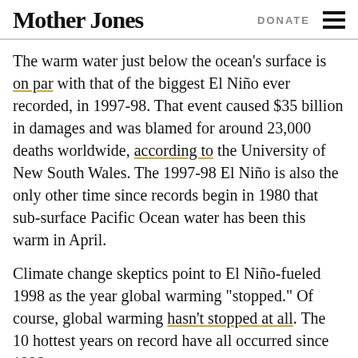Mother Jones | DONATE
The warm water just below the ocean’s surface is on par with that of the biggest El Niño ever recorded, in 1997-98. That event caused $35 billion in damages and was blamed for around 23,000 deaths worldwide, according to the University of New South Wales. The 1997-98 El Niño is also the only other time since records begin in 1980 that sub-surface Pacific Ocean water has been this warm in April.
Climate change skeptics point to El Niño-fueled 1998 as the year global warming “stopped.” Of course, global warming hasn’t stopped at all. The 10 hottest years on record have all occurred since 1998.